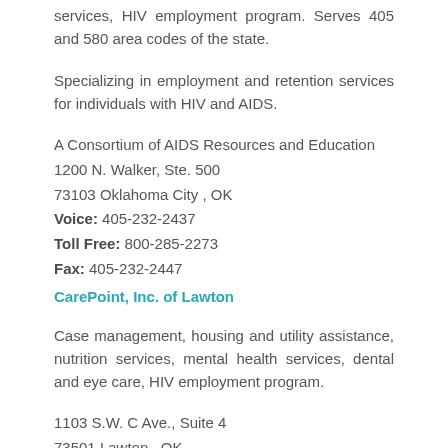services, HIV employment program. Serves 405 and 580 area codes of the state.
Specializing in employment and retention services for individuals with HIV and AIDS.
A Consortium of AIDS Resources and Education
1200 N. Walker, Ste. 500
73103 Oklahoma City , OK
Voice: 405-232-2437
Toll Free: 800-285-2273
Fax: 405-232-2447
CarePoint, Inc. of Lawton
Case management, housing and utility assistance, nutrition services, mental health services, dental and eye care, HIV employment program.
1103 S.W. C Ave., Suite 4
73501 Lawton , OK
Voice: 580-353-7000